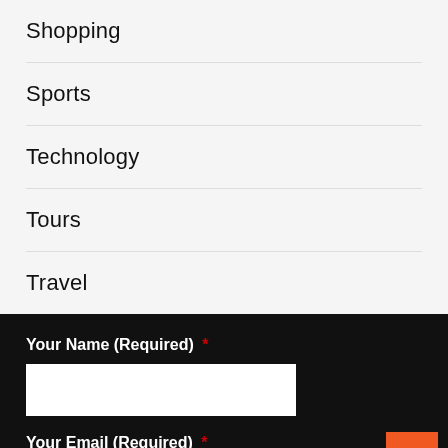Shopping
Sports
Technology
Tours
Travel
Your Name (Required) *
Your Email (Required) *